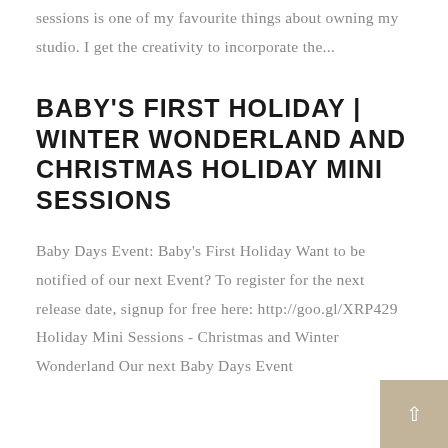sessions is one of my favourite things about owning my studio. I get the creativity to incorporate the...
BABY'S FIRST HOLIDAY | WINTER WONDERLAND AND CHRISTMAS HOLIDAY MINI SESSIONS
Baby Days Event: Baby's First Holiday Want to be notified of our next Event? To register for the next release date, signup for free here: http://goo.gl/XRP429 Holiday Mini Sessions - Christmas and Winter Wonderland Our next Baby Days Event